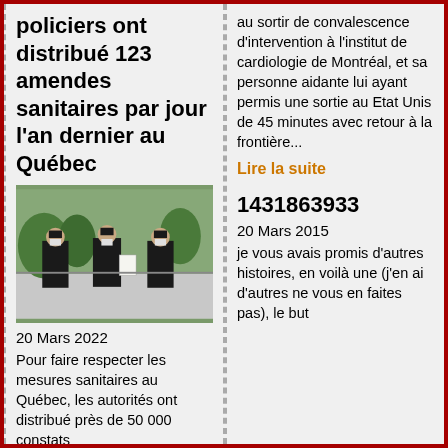policiers ont distribué 123 amendes sanitaires par jour l'an dernier au Québec
[Figure (photo): Three police officers in black uniforms and face masks standing on a street, one holding a document]
20 Mars 2022
Pour faire respecter les mesures sanitaires au Québec, les autorités ont distribué près de 50 000 constats
au sortir de convalescence d'intervention à l'institut de cardiologie de Montréal, et sa personne aidante lui ayant permis une sortie au Etat Unis de 45 minutes avec retour à la frontière...
Lire la suite
1431863933
20 Mars 2015
je vous avais promis d'autres histoires, en voilà une (j'en ai d'autres ne vous en faites pas), le but